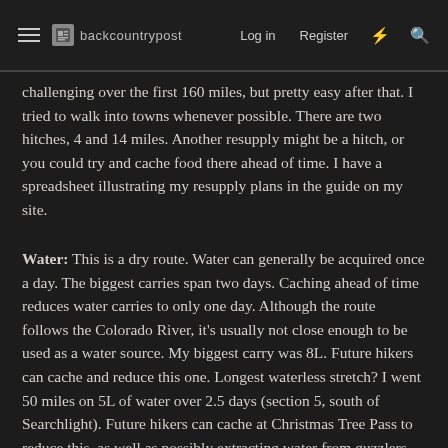backcountrypost  Log in  Register
challenging over the first 160 miles, but pretty easy after that. I tried to walk into towns whenever possible. There are two hitches, 4 and 14 miles. Another resupply might be a hitch, or you could try and cache food there ahead of time. I have a spreadsheet illustrating my resupply plans in the guide on my site.
Water: This is a dry route. Water can generally be acquired once a day. The biggest carries span two days. Caching ahead of time reduces water carries to only one day. Although the route follows the Colorado River, it's usually not close enough to be used as a water source. My biggest carry was 8L. Future hikers can cache and reduce this one. Longest waterless stretch? I went 50 miles on 5L of water over 2.5 days (section 5, south of Searchlight). Future hikers can cache at Christmas Tree Pass to reduce this, as well as possibly extracting water from guzzlers along the way. The small game guzzlers in southern Nevada are much more of a gamble than the big game guzzlers throughout the rest of the state. The guzzlers in Arizona were more reliable, and had more water that was much easier to access. This route is much drier than anything else I've hiked, but experienced hikers who put some thought into their water plan will not have an issue.